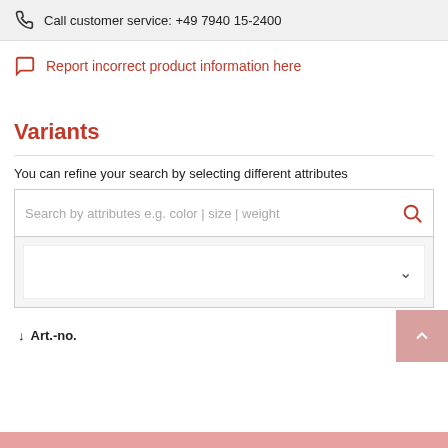Call customer service: +49 7940 15-2400
Report incorrect product information here
Variants
You can refine your search by selecting different attributes
Search by attributes e.g. color | size | weight
Art.-no.